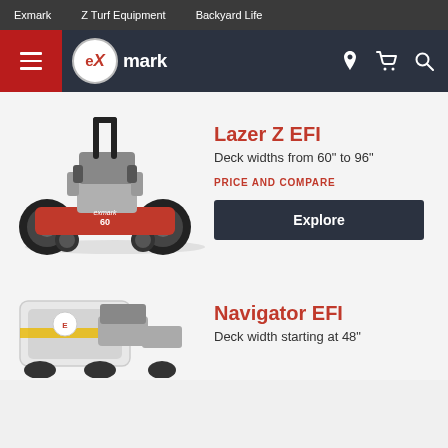Exmark | Z Turf Equipment | Backyard Life
[Figure (logo): Exmark logo with hamburger menu, location, cart, and search icons in dark navy header]
[Figure (photo): Red and black Exmark Lazer Z EFI zero-turn riding lawn mower on white/light background]
Lazer Z EFI
Deck widths from 60" to 96"
PRICE AND COMPARE
Explore
[Figure (photo): White and grey Exmark Navigator EFI lawn mower with collection bag, partially visible]
Navigator EFI
Deck width starting at 48"